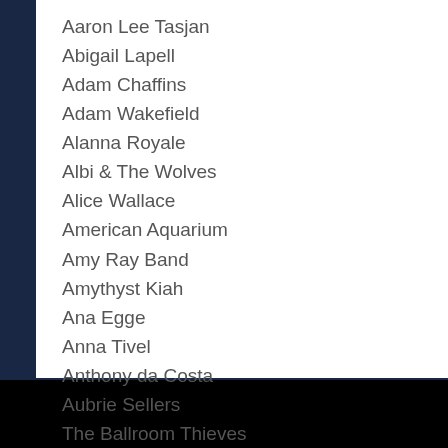Aaron Lee Tasjan
Abigail Lapell
Adam Chaffins
Adam Wakefield
Alanna Royale
Albi & The Wolves
Alice Wallace
American Aquarium
Amy Ray Band
Amythyst Kiah
Ana Egge
Anna Tivel
Anthony da Costa
Aubrie Sellers
The Ballroom Thieves